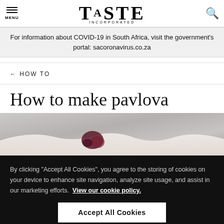MENU | TASTE | Search
For information about COVID-19 in South Africa, visit the government's portal: sacoronavirus.co.za
← HOW TO
How to make pavlova
[Figure (photo): Pavlova dessert with berries and cream on a light background]
By clicking "Accept All Cookies", you agree to the storing of cookies on your device to enhance site navigation, analyze site usage, and assist in our marketing efforts. View our cookie policy.
Accept All Cookies